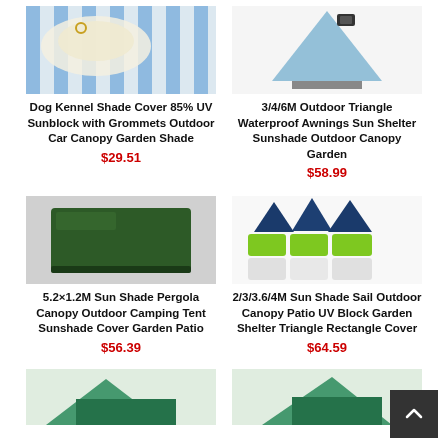[Figure (photo): Dog kennel shade cover product photo - striped blue and white fabric with grommets]
Dog Kennel Shade Cover 85% UV Sunblock with Grommets Outdoor Car Canopy Garden Shade
$29.51
[Figure (photo): 3/4/6M outdoor triangle waterproof awning product photo]
3/4/6M Outdoor Triangle Waterproof Awnings Sun Shelter Sunshade Outdoor Canopy Garden
$58.99
[Figure (photo): Dark green rectangular sun shade pergola canopy product photo]
5.2×1.2M Sun Shade Pergola Canopy Outdoor Camping Tent Sunshade Cover Garden Patio
$56.39
[Figure (photo): Sun shade sail illustration showing triangles and squares in navy, green, and white]
2/3/3.6/4M Sun Shade Sail Outdoor Canopy Patio UV Block Garden Shelter Triangle Rectangle Cover
$64.59
[Figure (photo): Green tarp/canopy product partially visible at bottom left]
[Figure (photo): Green tarp/canopy product partially visible at bottom right]